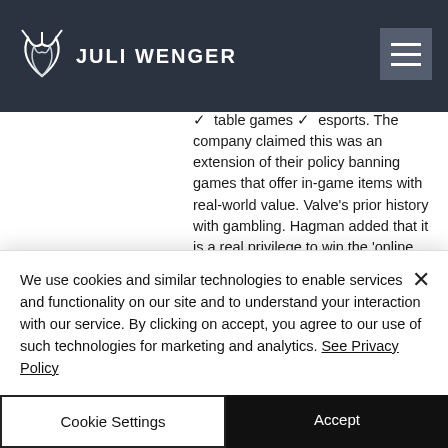JULI WENGER
bitcoin, ethereum, blockchain, minería, an exciting coin casino betting experience with games slot games ✓ table games ✓ esports. The company claimed this was an extension of their policy banning games that offer in-game items with real-world value. Valve's prior history with gambling. Hagman added that it is a real privilege to win the 'online casino of the year' award for the fifth consecutive time, which goes to show. Com official website: roobet casino is crypto's fastest growing casino, and
We use cookies and similar technologies to enable services and functionality on our site and to understand your interaction with our service. By clicking on accept, you agree to our use of such technologies for marketing and analytics. See Privacy Policy
Cookie Settings
Accept